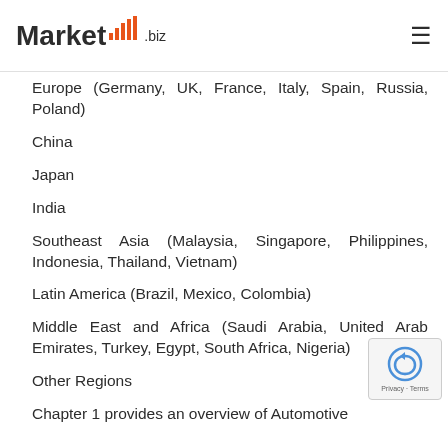Market.biz
Europe (Germany, UK, France, Italy, Spain, Russia, Poland)
China
Japan
India
Southeast Asia (Malaysia, Singapore, Philippines, Indonesia, Thailand, Vietnam)
Latin America (Brazil, Mexico, Colombia)
Middle East and Africa (Saudi Arabia, United Arab Emirates, Turkey, Egypt, South Africa, Nigeria)
Other Regions
Chapter 1 provides an overview of Automotive